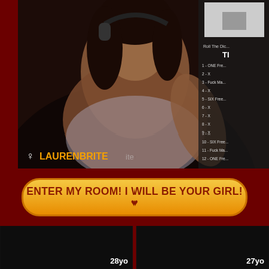[Figure (photo): Webcam screenshot of a woman (LaurenBrite) in low light with a roll-the-dice overlay panel on the right listing numbered items. Female gender symbol and username LAURENBRITE visible at bottom left of stream.]
ENTER MY ROOM! I WILL BE YOUR GIRL! ♥
[Figure (photo): Thumbnail of a webcam stream, dark, labeled 28yo]
[Figure (photo): Thumbnail of a webcam stream, dark, labeled 27yo]